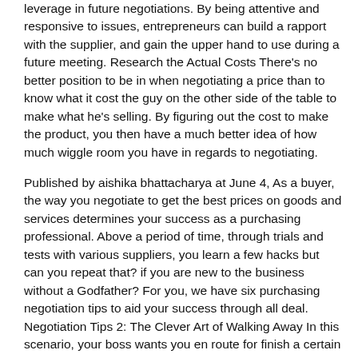leverage in future negotiations. By being attentive and responsive to issues, entrepreneurs can build a rapport with the supplier, and gain the upper hand to use during a future meeting. Research the Actual Costs There's no better position to be in when negotiating a price than to know what it cost the guy on the other side of the table to make what he's selling. By figuring out the cost to make the product, you then have a much better idea of how much wiggle room you have in regards to negotiating.
Published by aishika bhattacharya at June 4, As a buyer, the way you negotiate to get the best prices on goods and services determines your success as a purchasing professional. Above a period of time, through trials and tests with various suppliers, you learn a few hacks but can you repeat that? if you are new to the business without a Godfather? For you, we have six purchasing negotiation tips to aid your success through all deal. Negotiation Tips 2: The Clever Art of Walking Away In this scenario, your boss wants you en route for finish a certain procurement as ahead of schedule as possible and at a finest bargain. The supplier is ready en route for sell you their merchandise but how do you know your